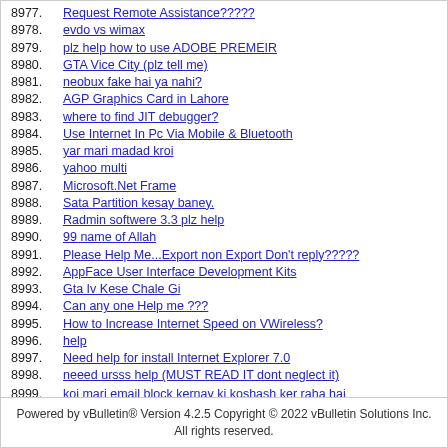8977. Request Remote Assistance?????
8978. evdo vs wimax
8979. plz help how to use ADOBE PREMEIR
8980. GTA Vice City (plz tell me)
8981. neobux fake hai ya nahi?
8982. AGP Graphics Card in Lahore
8983. where to find JIT debugger?
8984. Use Internet In Pc Via Mobile & Bluetooth
8985. yar mari madad kroi
8986. yahoo multi
8987. Microsoft.Net Frame
8988. Sata Partition kesay baney.
8989. Radmin softwere 3.3 plz help
8990. 99 name of Allah
8991. Please Help Me...Export non Export Don't reply?????
8992. AppFace User Interface Development Kits
8993. Gta Iv Kese Chale Gi
8994. Can any one Help me ???
8995. How to Increase Internet Speed on VWireless?
8996. help
8997. Need help for install Internet Explorer 7.0
8998. neeed ursss help (MUST READ IT dont neglect it)
8999. koi mari email block kernay ki koshash ker raha hai please help me
9000. Yahoo problem
Powered by vBulletin® Version 4.2.5 Copyright © 2022 vBulletin Solutions Inc. All rights reserved.